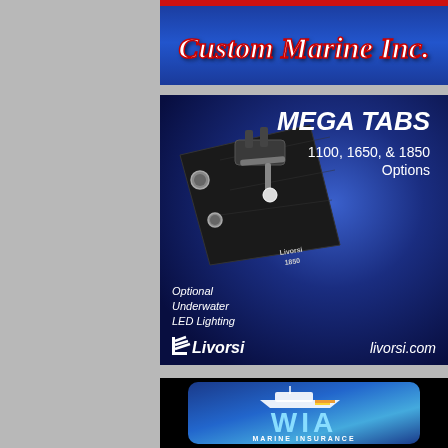[Figure (illustration): Custom Marine Inc. advertisement banner with script-style italic text on a blue gradient background]
[Figure (illustration): Livorsi Marine advertisement showing a Mega Tabs product (1100, 1650, & 1850 Options) with a photo of a boat trim tab on a dark blue background, Optional Underwater LED Lighting text, Livorsi logo, and livorsi.com website]
[Figure (logo): WIA Marine Insurance advertisement with blue gradient rounded rectangle, boat illustration, large blue WIA letters, and MARINE INSURANCE subtitle on black background]